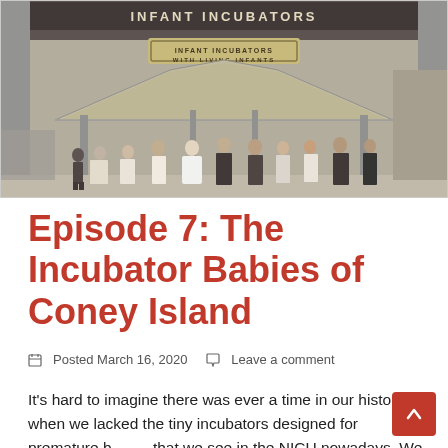[Figure (photo): Black and white historical photograph of people standing outside a building with sign reading 'INFANT INCUBATORS WITH LIVING INFANTS'. A group of men and women in early 20th century attire stand in front of the entrance under a tiled roof structure.]
Episode 7: The Incubator Babies of Coney Island
Posted March 16, 2020   Leave a comment
It's hard to imagine there was ever a time in our history when we lacked the tiny incubators designed for premature b... that we see in the NICU nowadays. We have a man named Dr...